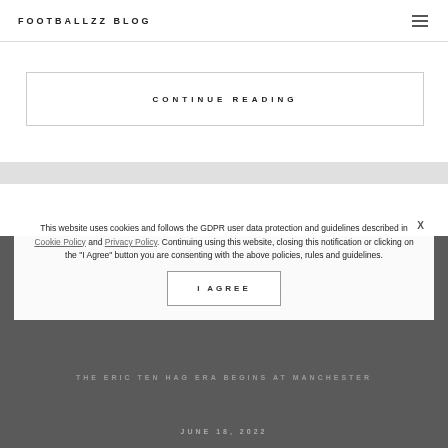FOOTBALLZZ BLOG
CONTINUE READING
FRENKIE DE JONG WOULD REINVENT A TIRED MANCHESTER UNITED MIDFIELD
THE ERIC TEN HAG ERA BEGINS AT MANCHESTER
JUNE 18, 2022
This website uses cookies and follows the GDPR user data protection and guidelines described in Cookie Policy and Privacy Policy. Continuing using this website, closing this notification or clicking on the "I Agree" button you are consenting with the above policies, rules and guidelines.
I AGREE